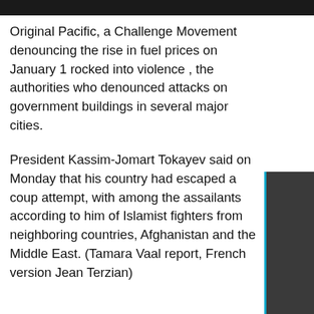Original Pacific, a Challenge Movement denouncing the rise in fuel prices on January 1 rocked into violence , the authorities who denounced attacks on government buildings in several major cities.
President Kassim-Jomart Tokayev said on Monday that his country had escaped a coup attempt, with among the assailants according to him of Islamist fighters from neighboring countries, Afghanistan and the Middle East. (Tamara Vaal report, French version Jean Terzian)